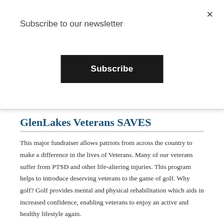Subscribe to our newsletter
Subscribe
×
GlenLakes Veterans SAVES
This major fundraiser allows patriots from across the country to make a difference in the lives of Veterans. Many of our veterans suffer from PTSD and other life-altering injuries. This program helps to introduce deserving veterans to the game of golf. Why golf? Golf provides mental and physical rehabilitation which aids in increased confidence, enabling veterans to enjoy an active and healthy lifestyle again.
With your support, we will continue to provide our ongoing golf rehabilitation program by offering golf lessons to help reduce the stress of trauma-related PTSD symptoms veterans experience.
Honor a Veteran today by supporting this direct-impact program. You will